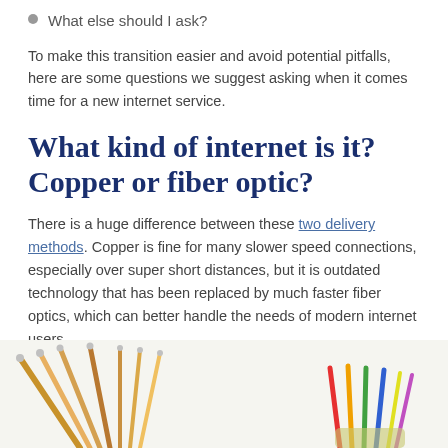What else should I ask?
To make this transition easier and avoid potential pitfalls, here are some questions we suggest asking when it comes time for a new internet service.
What kind of internet is it? Copper or fiber optic?
There is a huge difference between these two delivery methods. Copper is fine for many slower speed connections, especially over super short distances, but it is outdated technology that has been replaced by much faster fiber optics, which can better handle the needs of modern internet users.
[Figure (photo): Photograph of fiber optic cables and copper cables side by side, partially cropped at the bottom of the page]